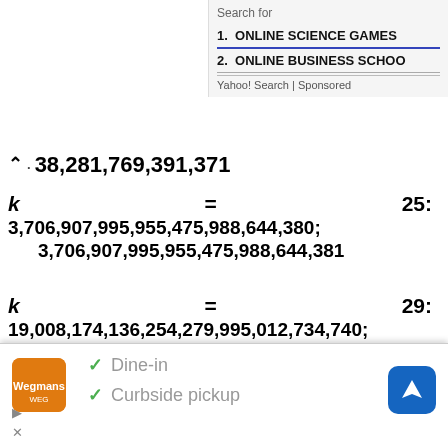Search for
1. ONLINE SCIENCE GAMES
2. ONLINE BUSINESS SCHOOL
Yahoo! Search | Sponsored
[Figure (screenshot): Bottom advertisement popup showing Wegmans restaurant with Dine-in and Curbside pickup options, navigation icon, and close/expand controls.]